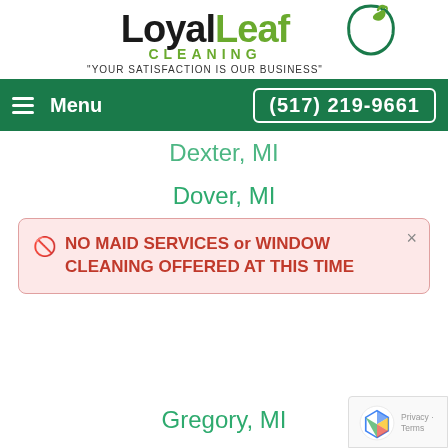[Figure (logo): LoyalLeaf Cleaning logo with green leaf/circle graphic and tagline 'YOUR SATISFACTION IS OUR BUSINESS']
Menu   (517) 219-9661
Dexter, MI
Dover, MI
Eenton, MI (partially obscured)
NO MAID SERVICES or WINDOW CLEANING OFFERED AT THIS TIME
Gregory, MI
Hanover, MI
Hillsdale, MI
Horton, MI
Hudson, MI
Hudson Mills, MI